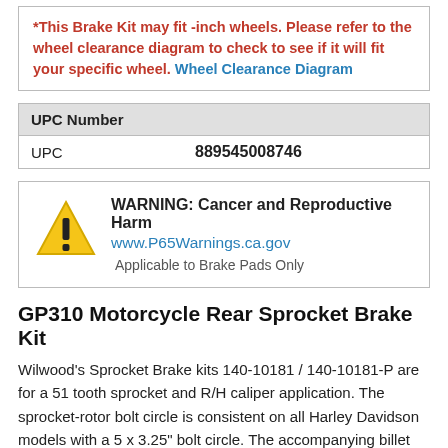*This Brake Kit may fit -inch wheels. Please refer to the wheel clearance diagram to check to see if it will fit your specific wheel. Wheel Clearance Diagram
| UPC Number |
| --- |
| UPC | 889545008746 |
[Figure (infographic): Warning icon (yellow triangle with exclamation mark) next to text: WARNING: Cancer and Reproductive Harm www.P65Warnings.ca.gov Applicable to Brake Pads Only]
GP310 Motorcycle Rear Sprocket Brake Kit
Wilwood's Sprocket Brake kits 140-10181 / 140-10181-P are for a 51 tooth sprocket and R/H caliper application. The sprocket-rotor bolt circle is consistent on all Harley Davidson models with a 5 x 3.25" bolt circle. The accompanying billet aluminum GP310 caliper is a 4 piston powerhouse, available in either chrome or a bright polished finish. Sprocket brake